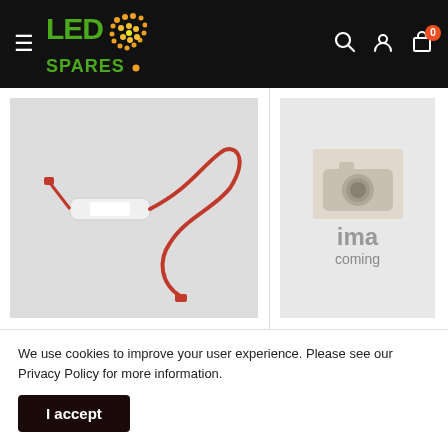LED SPARES — navigation header with menu, logo, search, account, and cart (0 items)
[Figure (photo): Product photo of an LED component with a red wire on grey background]
LED SPARES LIMITED
[Figure (photo): Placeholder image with camera icon and 'ima coming' text (image coming soon)]
LED SPARES LIMITED
We use cookies to improve your user experience. Please see our Privacy Policy for more information.
I accept